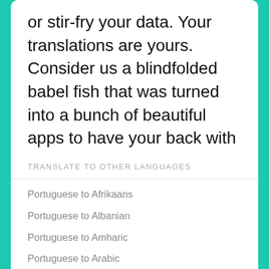or stir-fry your data. Your translations are yours. Consider us a blindfolded babel fish that was turned into a bunch of beautiful apps to have your back with translations.
TRANSLATE TO OTHER LANGUAGES
Portuguese to Afrikaans
Portuguese to Albanian
Portuguese to Amharic
Portuguese to Arabic
Portuguese to Armenian
Portuguese to Azerbaijani